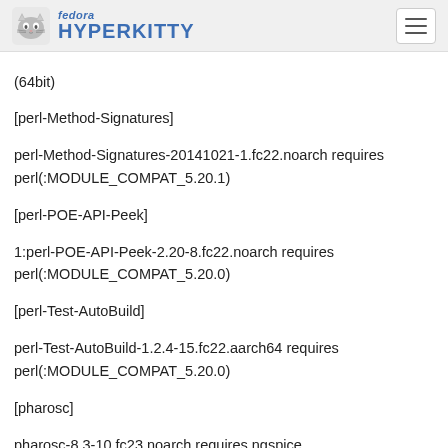fedora HYPERKITTY
(64bit)
[perl-Method-Signatures]
perl-Method-Signatures-20141021-1.fc22.noarch requires perl(:MODULE_COMPAT_5.20.1)
[perl-POE-API-Peek]
1:perl-POE-API-Peek-2.20-8.fc22.noarch requires perl(:MODULE_COMPAT_5.20.0)
[perl-Test-AutoBuild]
perl-Test-AutoBuild-1.2.4-15.fc22.aarch64 requires perl(:MODULE_COMPAT_5.20.0)
[pharosc]
pharosc-8.3-10.fc23.noarch requires ngspice
pharosc-xcircuit-8.3-10.fc23.noarch requires xcircuit
[php-guzzlehttp-ringphp]
php-guzzlehttp-ringphp-tests-1.1.0-5.fc23.noarch requires nodejs
[plasma-workspace]
plasma-workspace-5.4.0-6.fc24.aarch64 requires plasmashell
plasma-workspace-5.4.0-6.fc24.aarch64 requires khotkeys
[publican]
publican-4.1.3-3.fc22.noarch requires